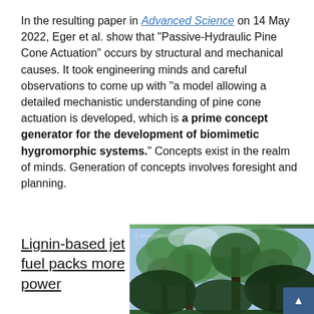In the resulting paper in Advanced Science on 14 May 2022, Eger et al. show that "Passive-Hydraulic Pine Cone Actuation" occurs by structural and mechanical causes. It took engineering minds and careful observations to come up with "a model allowing a detailed mechanistic understanding of pine cone actuation is developed, which is a prime concept generator for the development of biomimetic hygromorphic systems." Concepts exist in the realm of minds. Generation of concepts involves foresight and planning.
Lignin-based jet fuel packs more power
[Figure (photo): Looking up into tall conifer/redwood trees with green foliage against a bright sky]